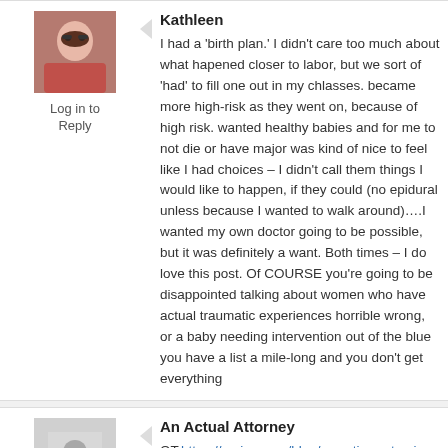[Figure (photo): Profile photo of Kathleen - woman with sunglasses]
Log in to Reply
Kathleen
I had a 'birth plan.' I didn't care too much about what ha... closer to labor, but we sort of 'had' to fill one out in my c... became more high-risk as they went on, because of hig... wanted healthy babies and for me to not die or have ma... was kind of nice to feel like I had choices – I didn't call th... things I would like to happen, if they could (no epidural u... because I wanted to walk around)....I wanted my own do... going to be possible, but it was definitely a want. Both ti... – I do love this post. Of COURSE you're going to be dis... talking about women who have actual traumatic experie... horrible wrong, or a baby needing intervention out of the... you have a list a mile-long and you don't get everything
[Figure (photo): Default avatar placeholder for An Actual Attorney]
Log in to Reply
An Actual Attorney
OT.https://amino.com/blog/c-section-rates-in-america-sta... predictor-pregnant-women
Ugh. Dr. Amy, please do a post about this crap